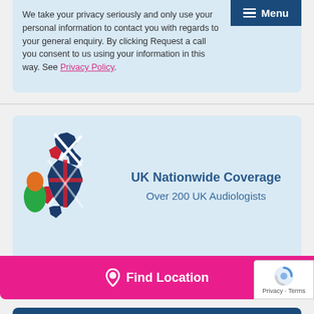We take your privacy seriously and only use your personal information to contact you with regards to your enquiry. By clicking Request a call you consent to us using your information in this way. See Privacy Policy.
[Figure (illustration): UK and Ireland map graphic with Union Jack flag pattern overlaid on Great Britain, Ireland shown in green/orange colors]
UK Nationwide Coverage
Over 200 UK Audiologists
Find Location